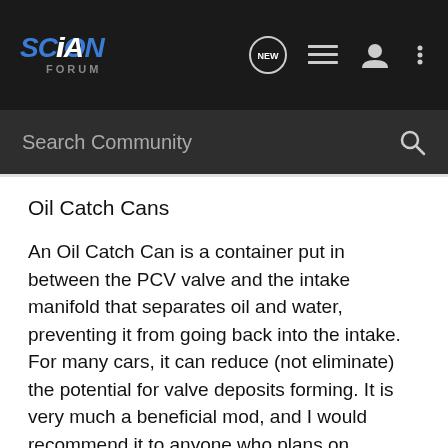Scion iA Forum — Search Community
Oil Catch Cans
An Oil Catch Can is a container put in between the PCV valve and the intake manifold that separates oil and water, preventing it from going back into the intake. For many cars, it can reduce (not eliminate) the potential for valve deposits forming. It is very much a beneficial mod, and I would recommend it to anyone who plans on keeping their car for an extended period of time. However, don't let other people say that you "need a catch can", because, as I discussed above, the issue already has a solution that doesn't cost you $165.
I hope this post helps answer some questions, and if anyone has questions, feel free to ask and I'll answer it or point you in